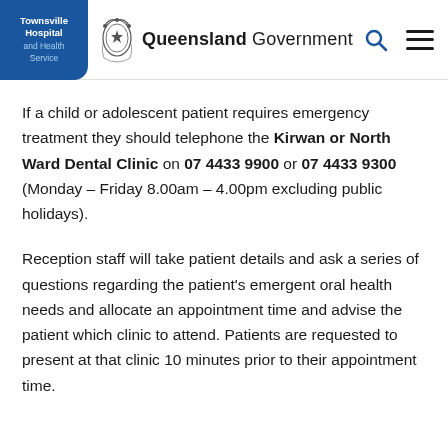Townsville Hospital and Health Service | Queensland Government
If a child or adolescent patient requires emergency treatment they should telephone the Kirwan or North Ward Dental Clinic on 07 4433 9900 or 07 4433 9300 (Monday – Friday 8.00am – 4.00pm excluding public holidays).
Reception staff will take patient details and ask a series of questions regarding the patient's emergent oral health needs and allocate an appointment time and advise the patient which clinic to attend. Patients are requested to present at that clinic 10 minutes prior to their appointment time.